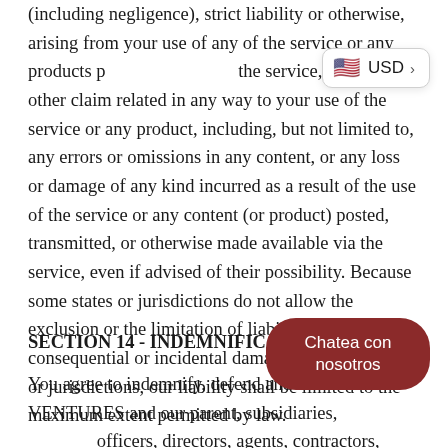(including negligence), strict liability or otherwise, arising from your use of any of the service or any products purchased through the service, or for any other claim related in any way to your use of the service or any product, including, but not limited to, any errors or omissions in any content, or any loss or damage of any kind incurred as a result of the use of the service or any content (or product) posted, transmitted, or otherwise made available via the service, even if advised of their possibility. Because some states or jurisdictions do not allow the exclusion or the limitation of liability for consequential or incidental damages, in such states or jurisdictions, our liability shall be limited to the maximum extent permitted by law.
SECTION 14 - INDEMNIFICATION
You agree to indemnify, defend and hold harmless VENTURES and our parent, subsidiaries, affiliates, partners, officers, directors, agents, contractors, licensors, service providers, subcontractors, suppliers, interns and employees